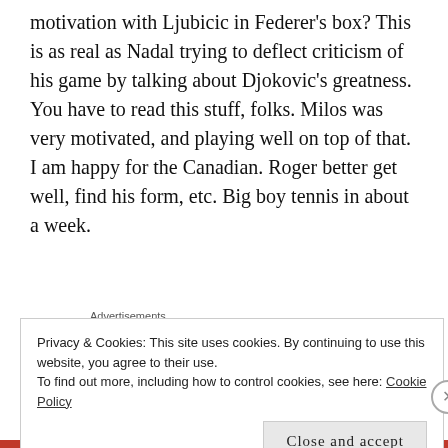motivation with Ljubicic in Federer's box? This is as real as Nadal trying to deflect criticism of his game by talking about Djokovic's greatness. You have to read this stuff, folks. Milos was very motivated, and playing well on top of that. I am happy for the Canadian. Roger better get well, find his form, etc. Big boy tennis in about a week.
[Figure (other): WooCommerce advertisement banner: purple background on left with WooCommerce logo and teal arrow, light background on right with text 'How to start selling subscriptions online', orange and blue decorative blobs]
Privacy & Cookies: This site uses cookies. By continuing to use this website, you agree to their use.
To find out more, including how to control cookies, see here: Cookie Policy
Close and accept